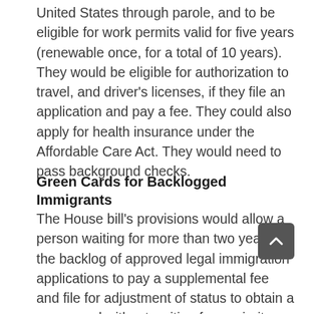United States through parole, and to be eligible for work permits valid for five years (renewable once, for a total of 10 years). They would be eligible for authorization to travel, and driver's licenses, if they file an application and pay a fee. They could also apply for health insurance under the Affordable Care Act. They would need to pass background checks.
Green Cards for Backlogged Immigrants
The House bill's provisions would allow a person waiting for more than two years in the backlog of approved legal immigration applications to pay a supplemental fee and file for adjustment of status to obtain a green card without waiting for a priority date to become available. The fee would vary, depending on the type of green card: $2,500 for